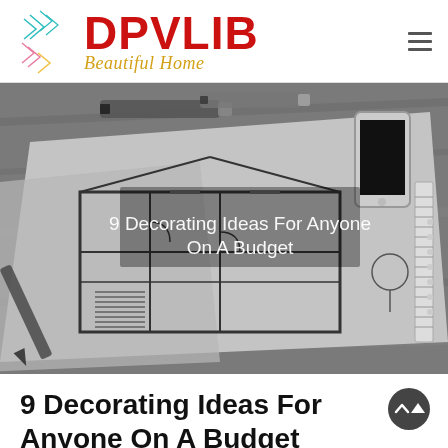[Figure (logo): DPVLIB Beautiful Home logo with geometric arrow icon in teal, pink, yellow colors on left, and hamburger menu icon on right]
[Figure (photo): Black and white overhead photo of architectural blueprint/floor plan drawings on a desk with pencils, markers, a smartphone, and a ruler]
9 Decorating Ideas For Anyone On A Budget
9 Decorating Ideas For Anyone On A Budget